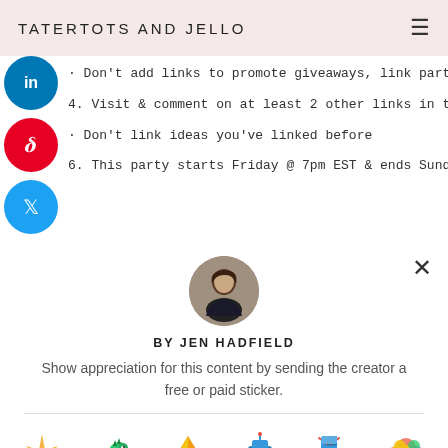TATERTOTS AND JELLO
Don't add links to promote giveaways, link parties o...
4. Visit & comment on at least 2 other links in the par...
. Don't link ideas you've linked before
6. This party starts Friday @ 7pm EST & ends Sunday...
BY JEN HADFIELD
Show appreciation for this content by sending the creator a free or paid sticker.
[Figure (illustration): Sticker options row: Free (colorful candy/toy), $1.00 (green dinosaur), $2.00 (gold origami crane), $4.00 (blue robot), $8.00 (blue knitted sock), $12.00 (flower bouquet)]